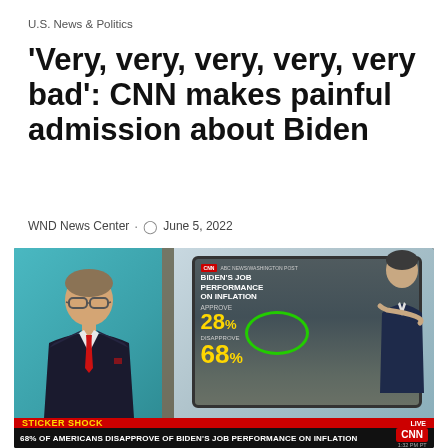U.S. News & Politics
'Very, very, very, very, very bad': CNN makes painful admission about Biden
WND News Center · June 5, 2022
[Figure (screenshot): CNN broadcast screenshot showing Biden's job performance on inflation poll: Approve 28%, Disapprove 68%. Anchor Jake Tapper visible on left. Lower third: STICKER SHOCK, 68% OF AMERICANS DISAPPROVE OF BIDEN'S JOB PERFORMANCE ON INFLATION. CNN logo, LIVE, 1:32 PM PT.]